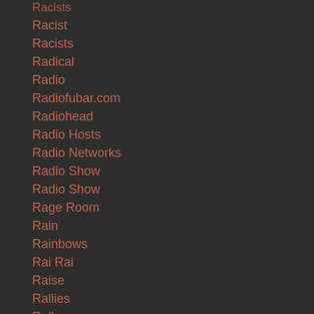Racists
Racist
Racists
Radical
Radio
Radiofubar.com
Radiohead
Radio Hosts
Radio Networks
Radio Show
Radio Show
Rage Room
Rain
Rainbows
Rai Rai
Raise
Rallies
Rally
Ramsey
Randy
Randy Orton